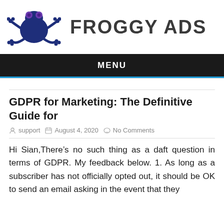[Figure (logo): Froggy Ads logo: dark blue frog silhouette with purple dots for eyes, bold dark gray text 'FROGGY ADS' to the right]
MENU
GDPR for Marketing: The Definitive Guide for
support   August 4, 2020   No Comments
Hi Sian,There’s no such thing as a daft question in terms of GDPR. My feedback below. 1. As long as a subscriber has not officially opted out, it should be OK to send an email asking in the event that they